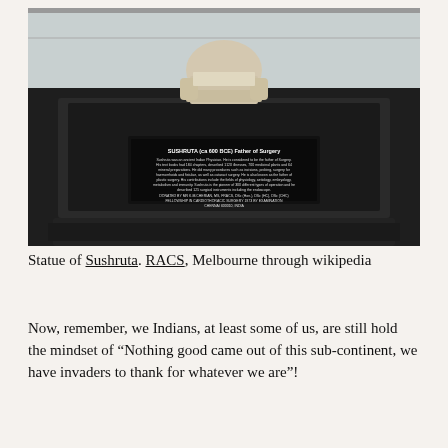[Figure (photo): Photograph of a marble statue of Sushruta (ancient Indian physician, ca 600 BCE) seated and holding a tablet, displayed at RACS Melbourne. A black plaque in front reads: 'SUSHRUTA (ca 600 BCE) Father of Surgery. Sushruta was an ancient Indian Physician. He is considered to be the father of Surgery. His text books had 184 chapters, described 1120 illnesses, 700 medicinal plants and 64 mineral preparations. He did many procedures such as incisions, probing, surgery for haemorrhoids and fistulae, as well as cataract surgery. He is also known as the father of plastic surgery. His contributions include the fields of physiology, aetiology, embryology, metabolism and immunity. Sushruta is the pioneer of 300 different types of operation and he described 125 surgical instruments including the endoscope. DONATED BY MR K.M.CHERIAN, MS, FRACS, DSc (Hon.), DSc (HC), DSc (CHC) FELLOWSHIP IN CARDIOTHORACIC SURGERY 1973 BY EXAMINATION CHENNAI 600010, INDIA']
Statue of Sushruta. RACS, Melbourne through wikipedia
Now, remember, we Indians, at least some of us, are still hold the mindset of “Nothing good came out of this sub-continent, we have invaders to thank for whatever we are”!